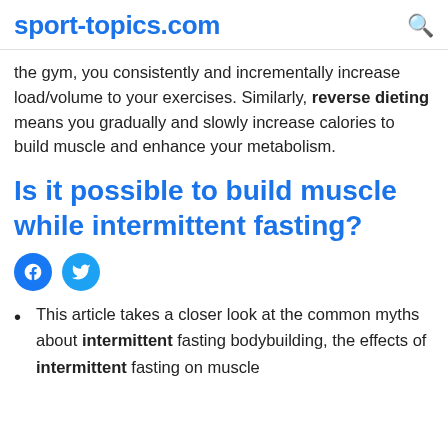sport-topics.com
the gym, you consistently and incrementally increase load/volume to your exercises. Similarly, reverse dieting means you gradually and slowly increase calories to build muscle and enhance your metabolism.
Is it possible to build muscle while intermittent fasting?
[Figure (other): Facebook and Twitter social share icon buttons]
This article takes a closer look at the common myths about intermittent fasting bodybuilding, the effects of intermittent fasting on muscle